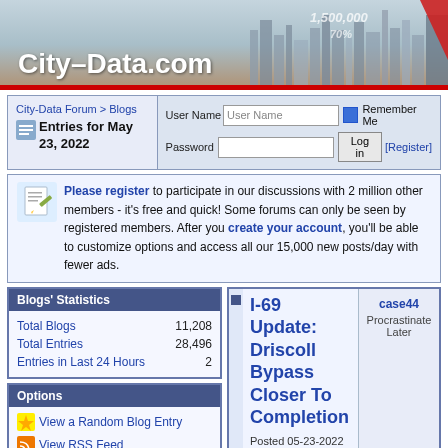[Figure (screenshot): City-Data.com banner with city skyline background showing 1,500,000 and 70% stats]
City-Data Forum > Blogs
Entries for May 23, 2022
User Name | Password | Remember Me | Log in | [Register]
Please register to participate in our discussions with 2 million other members - it's free and quick! Some forums can only be seen by registered members. After you create your account, you'll be able to customize options and access all our 15,000 new posts/day with fewer ads.
Blogs' Statistics
|  |  |
| --- | --- |
| Total Blogs | 11,208 |
| Total Entries | 28,496 |
| Entries in Last 24 Hours | 2 |
Options
View a Random Blog Entry
View RSS Feed
I-69 Update: Driscoll Bypass Closer To Completion
Posted 05-23-2022 at 05:30 PM by case44 (Welcome To Case's Column)
case44
Procrastinate Later